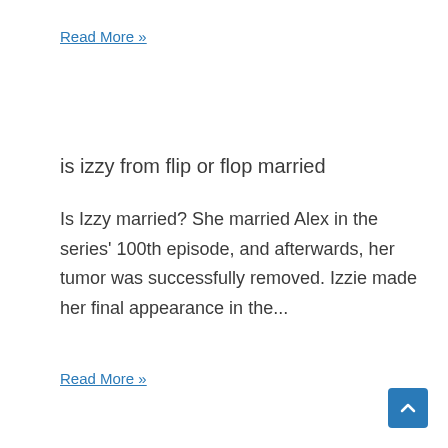Read More »
is izzy from flip or flop married
Is Izzy married? She married Alex in the series' 100th episode, and afterwards, her tumor was successfully removed. Izzie made her final appearance in the...
Read More »